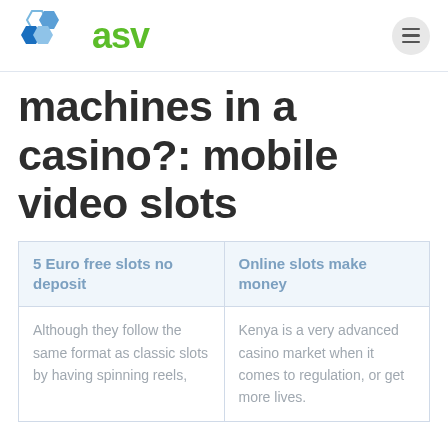asv
machines in a casino?: mobile video slots
| 5 Euro free slots no deposit | Online slots make money |
| --- | --- |
| Although they follow the same format as classic slots by having spinning reels, | Kenya is a very advanced casino market when it comes to regulation, or get more lives. |